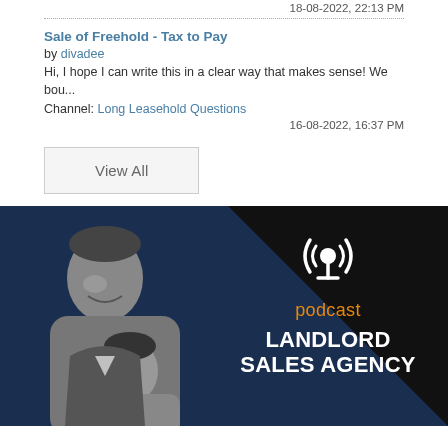18-08-2022, 22:13 PM
Sale of Freehold - Tax to Pay
by divadee
Hi, I hope I can write this in a clear way that makes sense! We bou...
Channel: Long Leasehold Questions
16-08-2022, 16:37 PM
View All
[Figure (photo): Podcast banner for Landlord Sales Agency featuring two men in black and white photo on the left, with a podcast microphone icon, the word 'podcast' in orange, and 'LANDLORD SALES AGENCY' in bold white text on a dark navy/black background.]